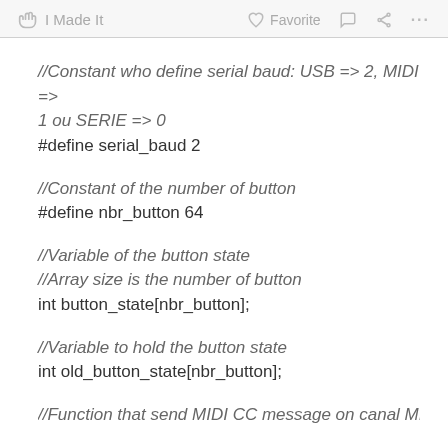✋ I Made It   ♡ Favorite   💬   ⎋   ...
//Constant who define serial baud: USB => 2, MIDI =>
1 ou SERIE => 0
#define serial_baud 2
//Constant of the number of button
#define nbr_button  64
//Variable of the button state
//Array size is the number of button
int button_state[nbr_button];
//Variable to hold the button state
int old_button_state[nbr_button];
//Function that send MIDI CC message on canal MIDI